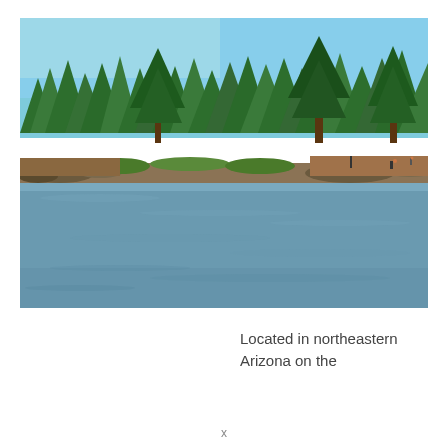[Figure (photo): A lake or reservoir surrounded by pine trees and rocky shoreline in northeastern Arizona. The water is calm and reflects the blue sky. People and structures are visible along the far bank.]
Located in northeastern Arizona on the
x